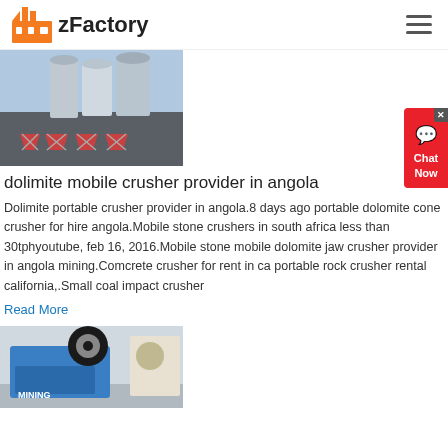zFactory
[Figure (photo): Industrial factory building with metal silos and hopper equipment on exterior]
dolimite mobile crusher provider in angola
Dolimite portable crusher provider in angola.8 days ago portable dolomite cone crusher for hire angola.Mobile stone crushers in south africa less than 30tphyoutube, feb 16, 2016.Mobile stone mobile dolomite jaw crusher provider in angola mining.Comcrete crusher for rent in ca portable rock crusher rental california,.Small coal impact crusher
Read More
[Figure (photo): Blue heavy machinery jaw crusher equipment in a factory setting]